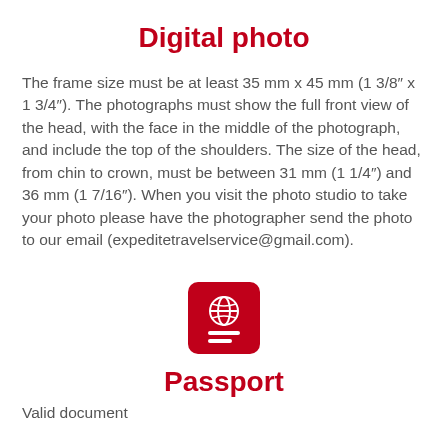Digital photo
The frame size must be at least 35 mm x 45 mm (1 3/8″ x 1 3/4″). The photographs must show the full front view of the head, with the face in the middle of the photograph, and include the top of the shoulders. The size of the head, from chin to crown, must be between 31 mm (1 1/4″) and 36 mm (1 7/16″). When you visit the photo studio to take your photo please have the photographer send the photo to our email (expeditetravelservice@gmail.com).
[Figure (illustration): Red passport icon with globe and two horizontal lines on a rounded square background]
Passport
Valid document